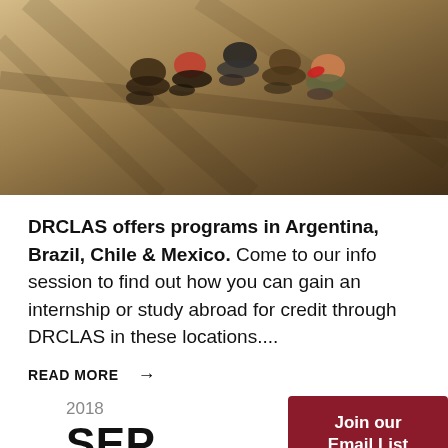[Figure (photo): Group of people sitting on sandy/snowy ground viewed from above, with long shadows cast across the surface]
DRCLAS offers programs in Argentina, Brazil, Chile & Mexico. Come to our info session to find out how you can gain an internship or study abroad for credit through DRCLAS in these locations....
READ MORE →
2018
SEP
27
Join our Email List